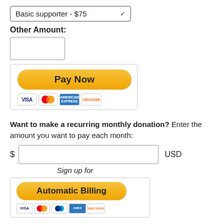[Figure (screenshot): Dropdown selector showing 'Basic supporter - $75']
Other Amount:
[Figure (screenshot): Empty text input box for other amount]
[Figure (screenshot): PayPal Pay Now button with credit card icons (Visa, Mastercard, American Express, Discover)]
Want to make a recurring monthly donation? Enter the amount you want to pay each month:
[Figure (screenshot): Dollar sign, text input field, and USD label for monthly amount]
Sign up for
[Figure (screenshot): PayPal Automatic Billing button with credit card icons (Visa, Mastercard, PayPal, American Express, Discover)]